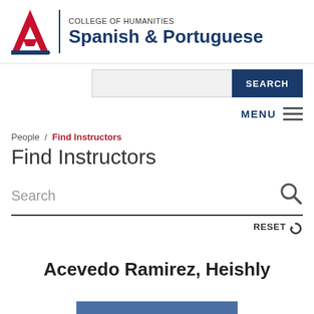[Figure (logo): University of Arizona logo with red letter A and blue College of Humanities Spanish & Portuguese department name]
[Figure (screenshot): Search bar with text input and dark blue SEARCH button]
MENU ≡
People / Find Instructors
Find Instructors
Search (search icon)
RESET ↺
Acevedo Ramirez, Heishly